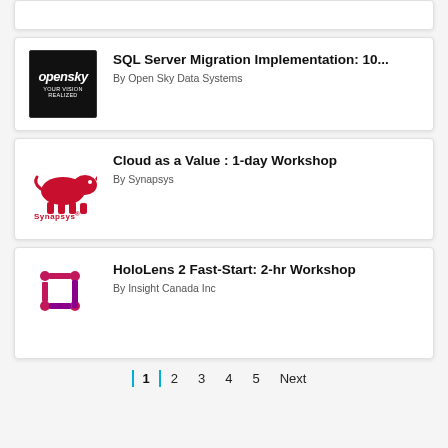[Figure (screenshot): Partial card at top (cropped)]
SQL Server Migration Implementation: 10... By Open Sky Data Systems
Cloud as a Value : 1-day Workshop By Synapsys
HoloLens 2 Fast-Start: 2-hr Workshop By Insight Canada Inc
1  2  3  4  5  Next